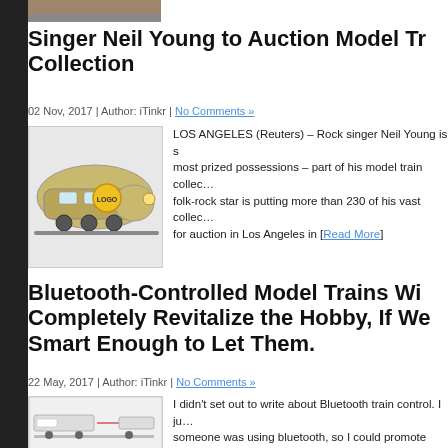[Figure (photo): Partial top image of a person, cropped]
Singer Neil Young to Auction Model Train Collection
02 Nov, 2017 | Author: iTinkr | No Comments »
[Figure (photo): Photo of a model train locomotive, silver/gold colored]
LOS ANGELES (Reuters) – Rock singer Neil Young is s… most prized possessions – part of his model train collec… folk-rock star is putting more than 230 of his vast collec… for auction in Los Angeles in [Read More]
Bluetooth-Controlled Model Trains Will Completely Revitalize the Hobby, If We're Smart Enough to Let Them.
22 May, 2017 | Author: iTinkr | No Comments »
[Figure (screenshot): Small screenshot of a model train diagram or interface]
I didn't set out to write about Bluetooth train control. I ju… someone was using bluetooth, so I could promote th…